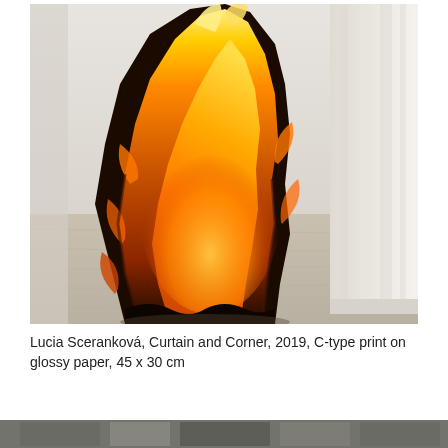[Figure (photo): Photograph of a curtain printed with a photographic image of fire, placed in a room corner against white curtains and a light wood floor. The printed fire image dominates the center, showing vivid orange and yellow flames against dark/black burnt fabric.]
Lucia Sceranková, Curtain and Corner, 2019, C-type print on glossy paper, 45 x 30 cm
[Figure (photo): Partial bottom strip of another photograph, cut off at the bottom of the page.]